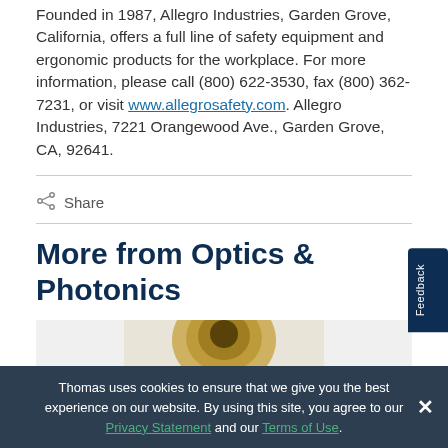Founded in 1987, Allegro Industries, Garden Grove, California, offers a full line of safety equipment and ergonomic products for the workplace. For more information, please call (800) 622-3530, fax (800) 362-7231, or visit www.allegrosafety.com. Allegro Industries, 7221 Orangewood Ave., Garden Grove, CA, 92641.
Share
More from Optics & Photonics
[Figure (photo): Partial view of an optical/photonics component, metallic golden colored lens or filter element]
Thomas uses cookies to ensure that we give you the best experience on our website. By using this site, you agree to our Privacy Statement and our Terms of Use.